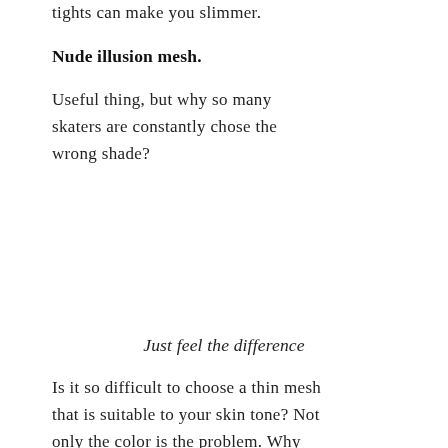tights can make you slimmer.
Nude illusion mesh.
Useful thing, but why so many skaters are constantly chose the wrong shade?
Just feel the difference
Is it so difficult to choose a thin mesh that is suitable to your skin tone? Not only the color is the problem. Why